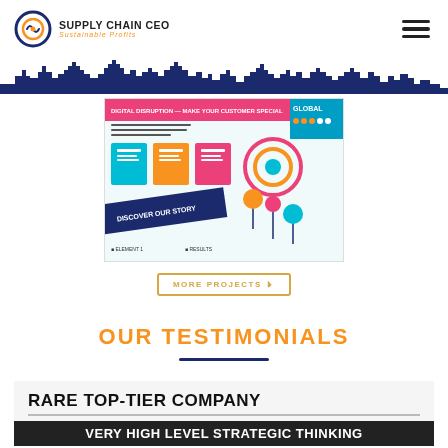SUPPLY CHAIN CEO — Sustainable Profits
[Figure (infographic): City skyline silhouette banner in dark navy/purple color at top of content area]
[Figure (infographic): Supply chain infographic panel with colorful elements, charts, and Global branding label]
MORE PROJECTS
OUR TESTIMONIALS
RARE TOP-TIER COMPANY
VERY HIGH LEVEL STRATEGIC THINKING